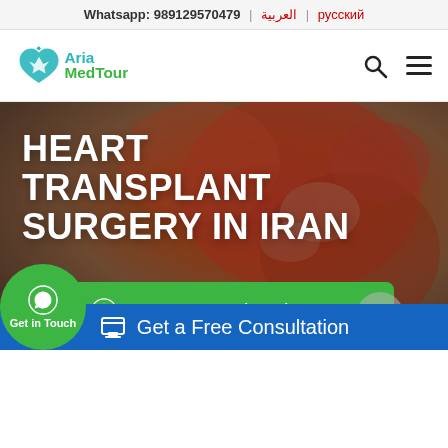Whatsapp: 989129570479 | العربية | русский
[Figure (logo): Aria MedTour logo with teal heart and airplane icon, teal and green text]
HEART TRANSPLANT SURGERY IN IRAN
[Figure (photo): Medical anatomical heart model close-up with red and orange tones, used as hero background]
Contact Us Via WhatsApp
Get in Touch
Get a Free Consultation